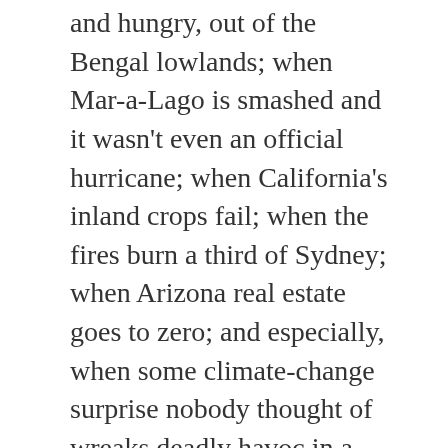and hungry, out of the Bengal lowlands; when Mar-a-Lago is smashed and it wasn't even an official hurricane; when California's inland crops fail; when the fires burn a third of Sydney; when Arizona real estate goes to zero; and especially, when some climate-change surprise nobody thought of wreaks deadly havoc in a place nobody expected, people are going to be put up